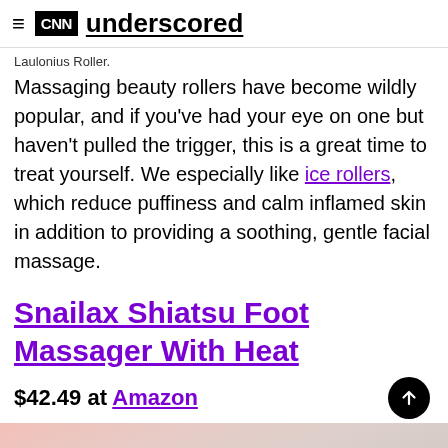CNN underscored
Laulonius Roller.
Massaging beauty rollers have become wildly popular, and if you've had your eye on one but haven't pulled the trigger, this is a great time to treat yourself. We especially like ice rollers, which reduce puffiness and calm inflamed skin in addition to providing a soothing, gentle facial massage.
Snailax Shiatsu Foot Massager With Heat
$42.49 at Amazon
[Figure (photo): Product photo of foot massager, partial view at bottom of page]